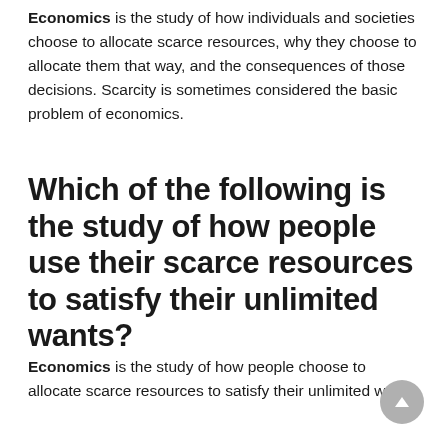Economics is the study of how individuals and societies choose to allocate scarce resources, why they choose to allocate them that way, and the consequences of those decisions. Scarcity is sometimes considered the basic problem of economics.
Which of the following is the study of how people use their scarce resources to satisfy their unlimited wants?
Economics is the study of how people choose to allocate scarce resources to satisfy their unlimited wants.